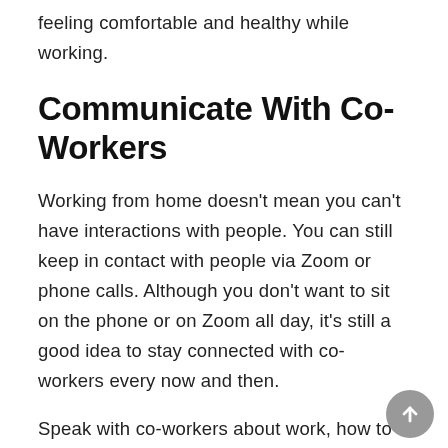feeling comfortable and healthy while working.
Communicate With Co-Workers
Working from home doesn’t mean you can’t have interactions with people. You can still keep in contact with people via Zoom or phone calls. Although you don’t want to sit on the phone or on Zoom all day, it’s still a good idea to stay connected with co-workers every now and then.
Speak with co-workers about work, how to improve, and what they’re doing to stay focused while at home. You might even want to